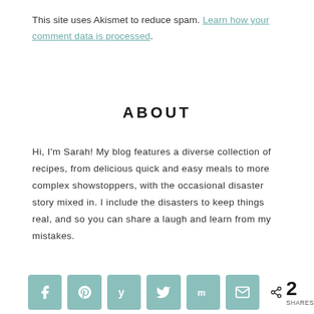This site uses Akismet to reduce spam. Learn how your comment data is processed.
ABOUT
Hi, I'm Sarah! My blog features a diverse collection of recipes, from delicious quick and easy meals to more complex showstoppers, with the occasional disaster story mixed in. I include the disasters to keep things real, and so you can share a laugh and learn from my mistakes.
My blog also has  a section dedicated to my horse,
[Figure (infographic): Social share bar with 6 icon buttons (Facebook, Pinterest, Yummly, Twitter, Mix, Email) in teal color, followed by a share count showing 2 SHARES]